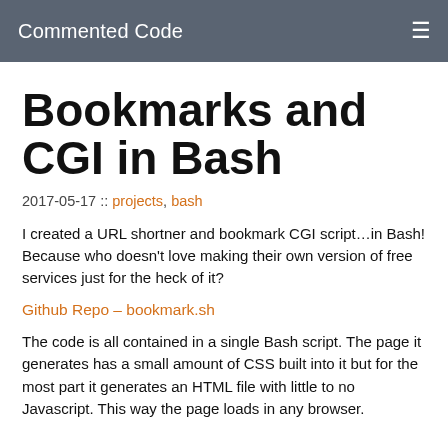Commented Code
Bookmarks and CGI in Bash
2017-05-17 :: projects, bash
I created a URL shortner and bookmark CGI script…in Bash! Because who doesn't love making their own version of free services just for the heck of it?
Github Repo – bookmark.sh
The code is all contained in a single Bash script. The page it generates has a small amount of CSS built into it but for the most part it generates an HTML file with little to no Javascript. This way the page loads in any browser.